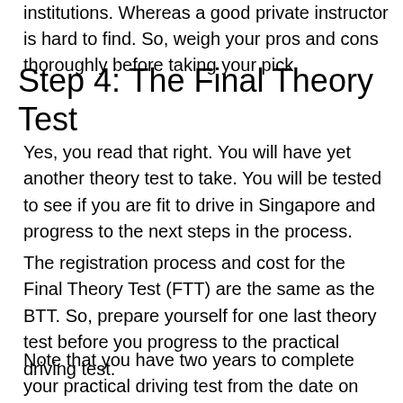institutions. Whereas a good private instructor is hard to find. So, weigh your pros and cons thoroughly before taking your pick.
Step 4: The Final Theory Test
Yes, you read that right. You will have yet another theory test to take. You will be tested to see if you are fit to drive in Singapore and progress to the next steps in the process.
The registration process and cost for the Final Theory Test (FTT) are the same as the BTT. So, prepare yourself for one last theory test before you progress to the practical driving test.
Note that you have two years to complete your practical driving test from the date on which your PDL was approved.